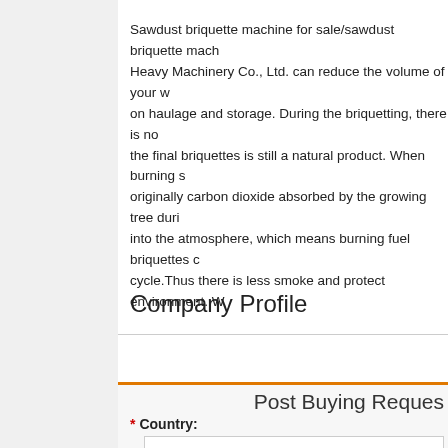Sawdust briquette machine for sale/sawdust briquette mach... Heavy Machinery Co., Ltd. can reduce the volume of your w... on haulage and storage. During the briquetting, there is no... the final briquettes is still a natural product. When burning s... originally carbon dioxide absorbed by the growing tree duri... into the atmosphere, which means burning fuel briquettes c... cycle.Thus there is less smoke and protect environment. W...
Company Profile
Post Buying Reques...
* Country:
Afghanistan